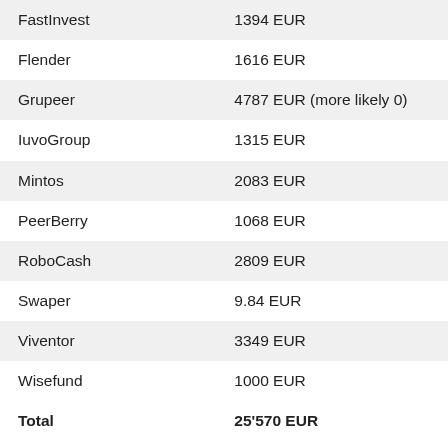| Platform | Amount |
| --- | --- |
| FastInvest | 1394 EUR |
| Flender | 1616 EUR |
| Grupeer | 4787 EUR (more likely 0) |
| IuvoGroup | 1315 EUR |
| Mintos | 2083 EUR |
| PeerBerry | 1068 EUR |
| RoboCash | 2809 EUR |
| Swaper | 9.84 EUR |
| Viventor | 3349 EUR |
| Wisefund | 1000 EUR |
| Total | 25'570 EUR |